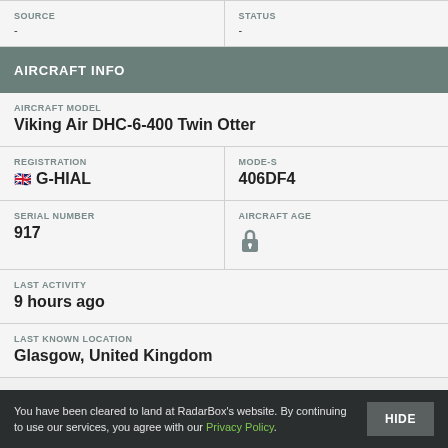| SOURCE | STATUS |
| --- | --- |
| - | - |
AIRCRAFT INFO
| AIRCRAFT MODEL |
| --- |
| Viking Air DHC-6-400 Twin Otter |
| REGISTRATION | MODE-S |
| --- | --- |
| 🇬🇧 G-HIAL | 406DF4 |
| SERIAL NUMBER | AIRCRAFT AGE |
| --- | --- |
| 917 | 🔒 |
| LAST ACTIVITY |
| --- |
| 9 hours ago |
| LAST KNOWN LOCATION |
| --- |
| Glasgow, United Kingdom |
You have been cleared to land at RadarBox's website. By continuing to use our services, you agree with our Privacy Policy.